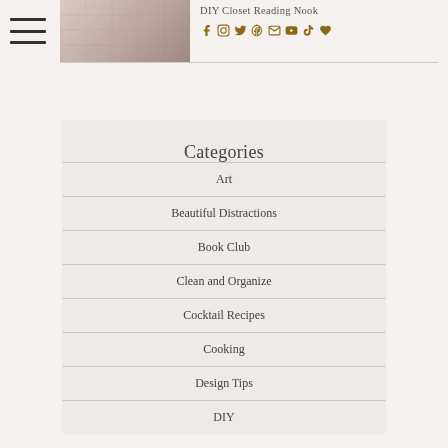DIY Closet Reading Nook
Categories
Art
Beautiful Distractions
Book Club
Clean and Organize
Cocktail Recipes
Cooking
Design Tips
DIY